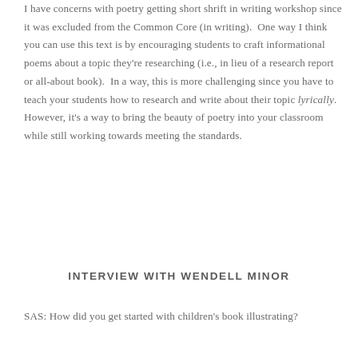I have concerns with poetry getting short shrift in writing workshop since it was excluded from the Common Core (in writing).  One way I think you can use this text is by encouraging students to craft informational poems about a topic they're researching (i.e., in lieu of a research report or all-about book).  In a way, this is more challenging since you have to teach your students how to research and write about their topic lyrically. However, it's a way to bring the beauty of poetry into your classroom while still working towards meeting the standards.
INTERVIEW WITH WENDELL MINOR
SAS: How did you get started with children's book illustrating?